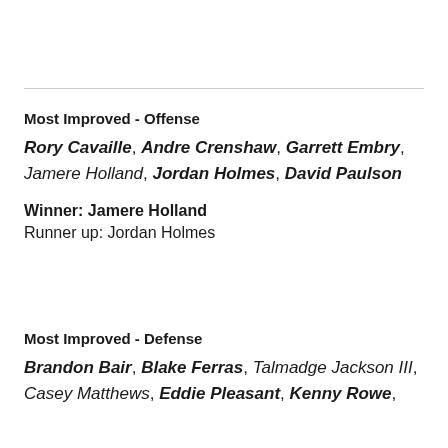Most Improved - Offense
Rory Cavaille, Andre Crenshaw, Garrett Embry, Jamere Holland, Jordan Holmes, David Paulson
Winner: Jamere Holland
Runner up: Jordan Holmes
Most Improved - Defense
Brandon Bair, Blake Ferras, Talmadge Jackson III, Casey Matthews, Eddie Pleasant, Kenny Rowe,